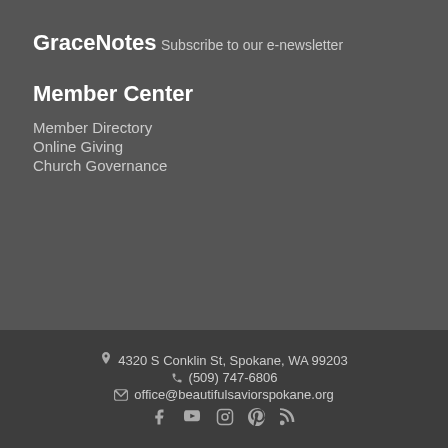GraceNotes
Subscribe to our e-newsletter
Member Center
Member Directory
Online Giving
Church Governance
4320 S Conklin St, Spokane, WA 99203
(509) 747-6806
office@beautifulsaviorspokane.org